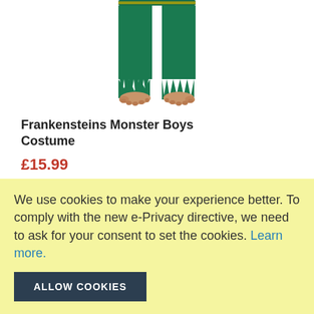[Figure (photo): Lower half of a child wearing a green Frankenstein's Monster costume with ragged/tattered trouser hems, bare feet visible at the bottom.]
Frankensteins Monster Boys Costume
£15.99
ADD TO CART
We use cookies to make your experience better. To comply with the new e-Privacy directive, we need to ask for your consent to set the cookies. Learn more.
ALLOW COOKIES